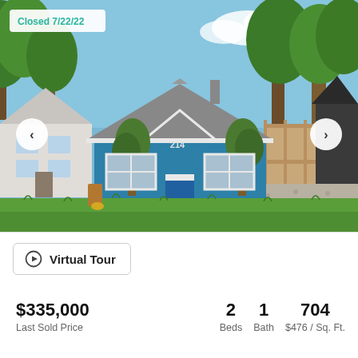[Figure (photo): Exterior photo of a small blue cottage-style house with gray shingle roof, white trim, and blue front door. Green lawn in foreground, trees in background, neighboring white house on left and dark structure on right. Navigation arrows on left and right sides. Badge in top-left reads 'Closed 7/22/22'.]
Virtual Tour
$335,000
Last Sold Price
2 Beds   1 Bath   704 $476 / Sq. Ft.